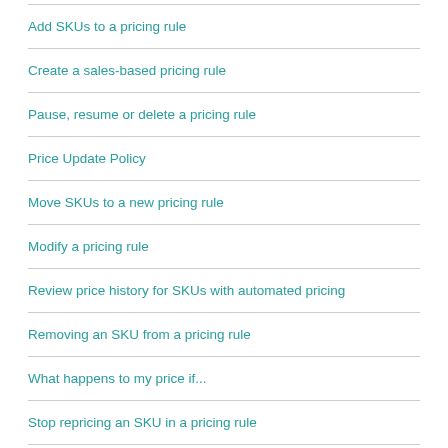Add SKUs to a pricing rule
Create a sales-based pricing rule
Pause, resume or delete a pricing rule
Price Update Policy
Move SKUs to a new pricing rule
Modify a pricing rule
Review price history for SKUs with automated pricing
Removing an SKU from a pricing rule
What happens to my price if...
Stop repricing an SKU in a pricing rule